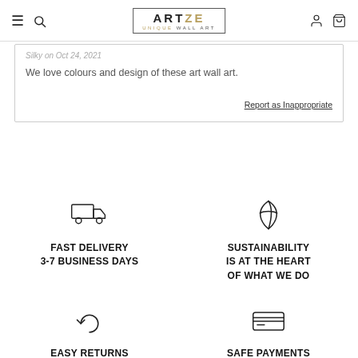ARTZE UNIQUE WALL ART — navigation header
Silky on Oct 24, 2021
We love colours and design of these art wall art.
Report as Inappropriate
[Figure (illustration): Delivery truck icon]
FAST DELIVERY
3-7 BUSINESS DAYS
[Figure (illustration): Leaf/sustainability icon]
SUSTAINABILITY IS AT THE HEART OF WHAT WE DO
[Figure (illustration): Returns arrow icon]
EASY RETURNS
30 DAY RETURNS
[Figure (illustration): Credit card icon]
SAFE PAYMENTS
QUICK AND SAFE WITH
CARD, PAYPAL OR